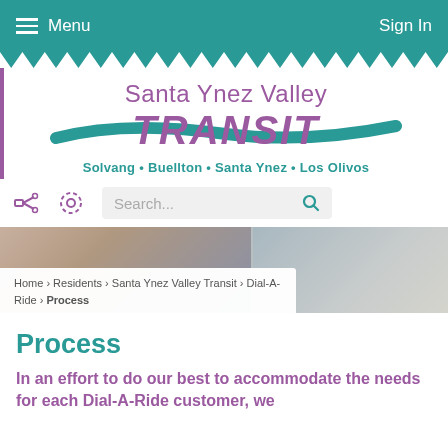Menu   Sign In
[Figure (logo): Santa Ynez Valley Transit logo with swoosh graphic. Text: Santa Ynez Valley TRANSIT. Subtitle: Solvang • Buellton • Santa Ynez • Los Olivos]
Search...
[Figure (photo): Hero banner image showing blurred documents/papers on left side and what appears to be a transit schedule or map on the right side]
Home › Residents › Santa Ynez Valley Transit › Dial-A-Ride › Process
Process
In an effort to do our best to accommodate the needs for each Dial-A-Ride customer, we